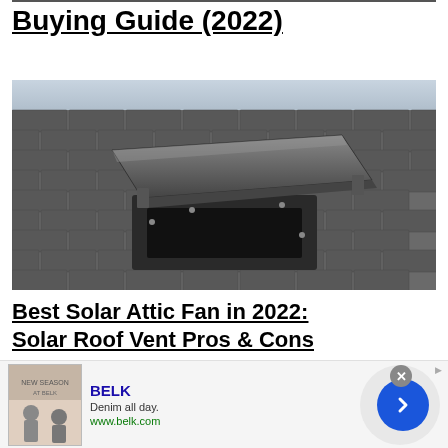Buying Guide (2022)
[Figure (photo): Solar attic fan / solar roof vent installed on a dark shingle roof, with the panel cover propped open showing the vent underneath]
Best Solar Attic Fan in 2022: Solar Roof Vent Pros & Cons
[Figure (other): Advertisement banner for BELK: 'Denim all day. www.belk.com' with a fashion image and a blue arrow button]